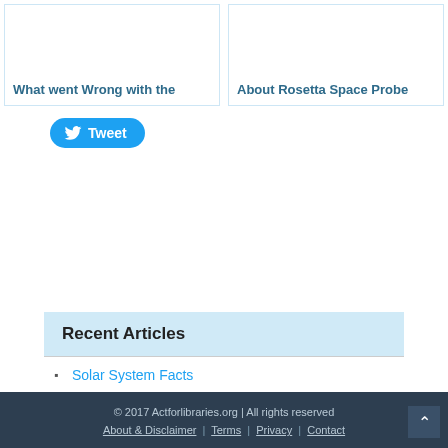What went Wrong with the
About Rosetta Space Probe
[Figure (other): Twitter Tweet button - blue rounded pill button with bird icon and 'Tweet' text]
Recent Articles
Solar System Facts
Black Smokers
© 2017 Actforlibraries.org | All rights reserved
About & Disclaimer | Terms | Privacy | Contact